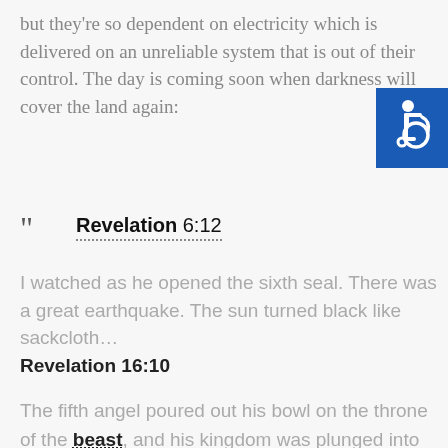but they're so dependent on electricity which is delivered on an unreliable system that is out of their control. The day is coming soon when darkness will cover the land again:
[Figure (illustration): Accessibility icon - white wheelchair symbol on blue background square]
Revelation 6:12
I watched as he opened the sixth seal. There was a great earthquake. The sun turned black like sackcloth…
Revelation 16:10
The fifth angel poured out his bowl on the throne of the beast, and his kingdom was plunged into darkness.
Men gnawed their tongues in agony